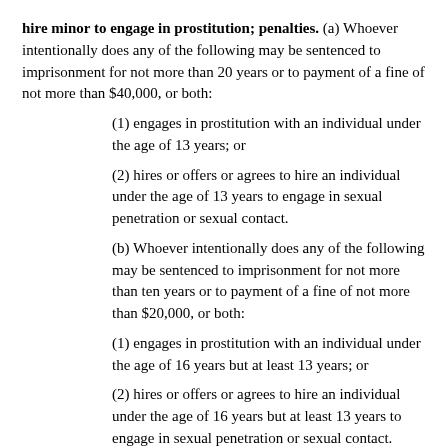hire minor to engage in prostitution; penalties. (a) Whoever intentionally does any of the following may be sentenced to imprisonment for not more than 20 years or to payment of a fine of not more than $40,000, or both:
(1) engages in prostitution with an individual under the age of 13 years; or
(2) hires or offers or agrees to hire an individual under the age of 13 years to engage in sexual penetration or sexual contact.
(b) Whoever intentionally does any of the following may be sentenced to imprisonment for not more than ten years or to payment of a fine of not more than $20,000, or both:
(1) engages in prostitution with an individual under the age of 16 years but at least 13 years; or
(2) hires or offers or agrees to hire an individual under the age of 16 years but at least 13 years to engage in sexual penetration or sexual contact.
(c) Whoever intentionally does any of the following may be sentenced to imprisonment for not more than five